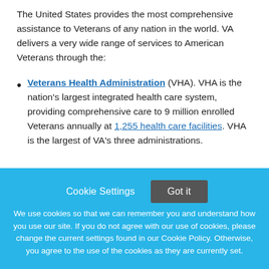The United States provides the most comprehensive assistance to Veterans of any nation in the world. VA delivers a very wide range of services to American Veterans through the:
Veterans Health Administration (VHA). VHA is the nation's largest integrated health care system, providing comprehensive care to 9 million enrolled Veterans annually at 1,255 health care facilities. VHA is the largest of VA's three administrations.
Cookie Settings  Got it  We use cookies so that we can remember you and understand how you use our site. If you do not agree with our use of cookies, please change the current settings found in our Cookie Policy. Otherwise, you agree to the use of the cookies as they are currently set.